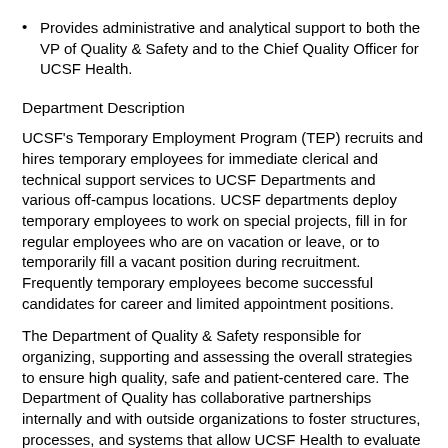Provides administrative and analytical support to both the VP of Quality & Safety and to the Chief Quality Officer for UCSF Health.
Department Description
UCSF's Temporary Employment Program (TEP) recruits and hires temporary employees for immediate clerical and technical support services to UCSF Departments and various off-campus locations. UCSF departments deploy temporary employees to work on special projects, fill in for regular employees who are on vacation or leave, or to temporarily fill a vacant position during recruitment. Frequently temporary employees become successful candidates for career and limited appointment positions.
The Department of Quality & Safety responsible for organizing, supporting and assessing the overall strategies to ensure high quality, safe and patient-centered care. The Department of Quality has collaborative partnerships internally and with outside organizations to foster structures, processes, and systems that allow UCSF Health to evaluate and improve the care it provides. This includes the processes to measure and evaluate ongoing safe,